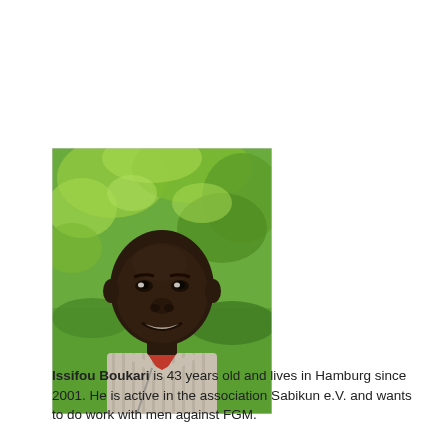[Figure (photo): Portrait photo of Issifou Boukari, a man smiling, with green leafy plants in the background, wearing a striped collared shirt with a red undershirt.]
Issifou Boukari is 43 years old and lives in Hamburg since 2001. He is active in the association Sabikun e.V. and wants to do work with men against FGM.